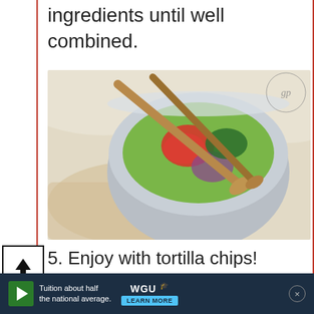ingredients until well combined.
[Figure (photo): Overhead view of a stainless steel mixing bowl on a wooden cutting board over a cream linen cloth, containing mashed avocado with diced tomatoes, red onion, and chopped cilantro, with two wooden spoons. The Gracious Pantry watermark logo is visible in the top right corner.]
5. Enjoy with tortilla chips!
[Figure (photo): Partially visible overhead photo of a mixing bowl with guacamole and wooden spoons, similar to above photo. The Gracious Pantry watermark logo visible.]
[Figure (screenshot): Advertisement banner: blue play button icon, text 'Tuition about half the national average.', WGU logo, LEARN MORE button, close X button.]